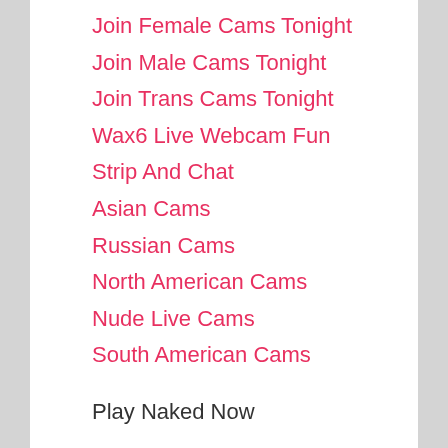Join Female Cams Tonight
Join Male Cams Tonight
Join Trans Cams Tonight
Wax6 Live Webcam Fun
Strip And Chat
Asian Cams
Russian Cams
North American Cams
Nude Live Cams
South American Cams
Categorized Porn Links
Live Chat Access
Play Naked Now